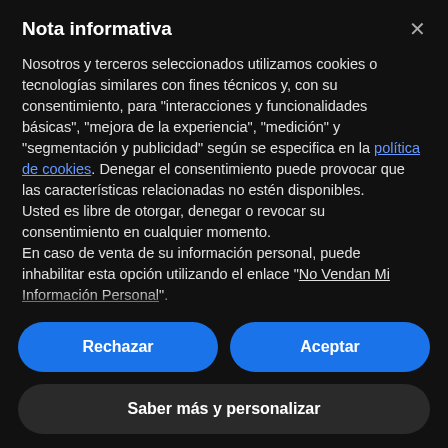Nota informativa
Nosotros y terceros seleccionados utilizamos cookies o tecnologías similares con fines técnicos y, con su consentimiento, para "interacciones y funcionalidades básicas", "mejora de la experiencia", "medición" y "segmentación y publicidad" según se especifica en la política de cookies. Denegar el consentimiento puede provocar que las características relacionadas no estén disponibles.
Usted es libre de otorgar, denegar o revocar su consentimiento en cualquier momento.
En caso de venta de su información personal, puede inhabilitar esta opción utilizando el enlace "No Vendan Mi Información Personal".
Rechazar
Aceptar
Saber más y personalizar